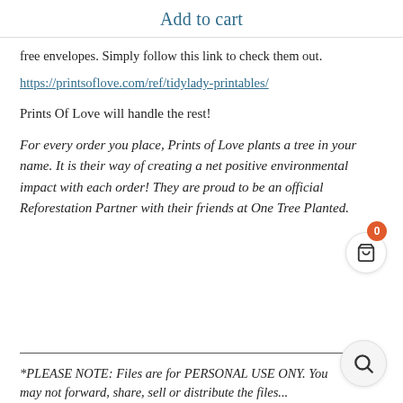Add to cart
free envelopes. Simply follow this link to check them out.
https://printsoflove.com/ref/tidylady-printables/
Prints Of Love will handle the rest!
For every order you place, Prints of Love plants a tree in your name. It is their way of creating a net positive environmental impact with each order! They are proud to be an official Reforestation Partner with their friends at One Tree Planted.
*PLEASE NOTE: Files are for PERSONAL USE ONLY. You may not forward, share, sell or distribute the files...